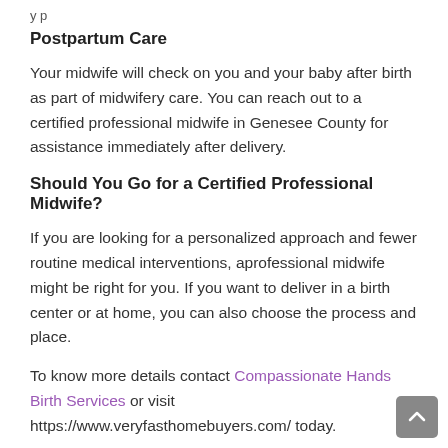y p
Postpartum Care
Your midwife will check on you and your baby after birth as part of midwifery care. You can reach out to a certified professional midwife in Genesee County for assistance immediately after delivery.
Should You Go for a Certified Professional Midwife?
If you are looking for a personalized approach and fewer routine medical interventions, aprofessional midwife might be right for you. If you want to deliver in a birth center or at home, you can also choose the process and place.
To know more details contact Compassionate Hands Birth Services or visit https://www.veryfasthomebuyers.com/ today.